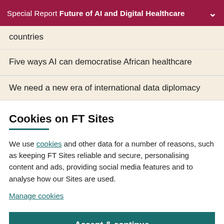Special Report Future of AI and Digital Healthcare
countries
Five ways AI can democratise African healthcare
We need a new era of international data diplomacy
Cookies on FT Sites
We use cookies and other data for a number of reasons, such as keeping FT Sites reliable and secure, personalising content and ads, providing social media features and to analyse how our Sites are used.
Manage cookies
Accept & continue